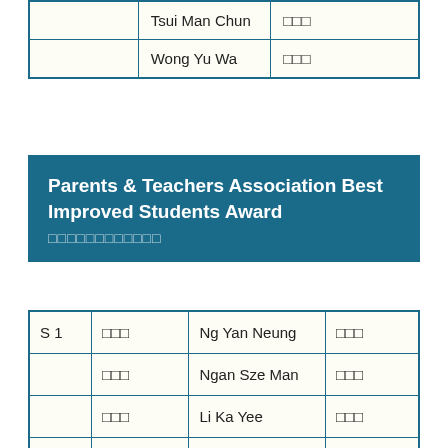|  | Name (English) | Name (Chinese) |
| --- | --- | --- |
|  | Tsui Man Chun | □□□ |
|  | Wong Yu Wa | □□□ |
Parents & Teachers Association Best Improved Students Award
□□□□□□□□□□□□
| Grade | Name (Chinese) | Name (English) | Name (Chinese) |
| --- | --- | --- | --- |
| S 1 | □□□ | Ng Yan Neung | □□□ |
|  | □□□ | Ngan Sze Man | □□□ |
|  | □□□ | Li Ka Yee | □□□ |
| S 2 | □□□ | Chu Ying Mei | □□□ |
|  | □□□ | So Wing Sze | □□□ |
|  | □□□ | Tam Yun Sheung | □□□ |